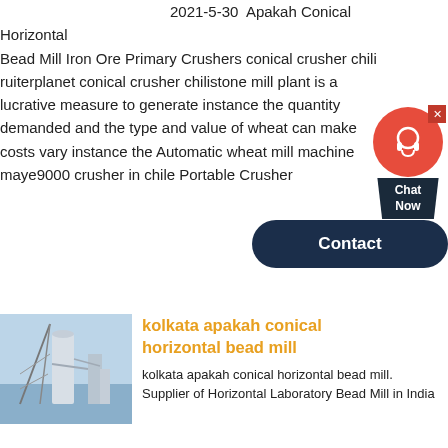2021-5-30  Apakah Conical Horizontal Bead Mill Iron Ore Primary Crushers conical crusher chili ruiterplanet conical crusher chilistone mill plant is a lucrative measure to generate instance the quantity demanded and the type and value of wheat can make costs vary instance the Automatic wheat mill machine maye9000 crusher in chile Portable Crusher
[Figure (photo): Industrial plant or mining facility with large structure and silos]
kolkata apakah conical horizontal bead mill
kolkata apakah conical horizontal bead mill. Supplier of Horizontal Laboratory Bead Mill in India